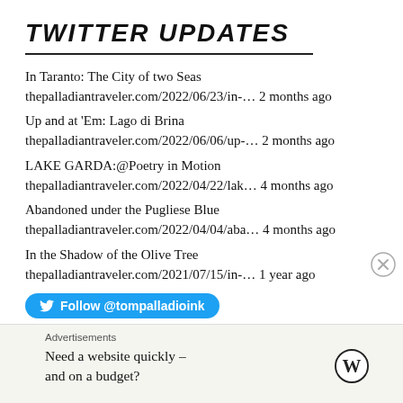TWITTER UPDATES
In Taranto: The City of two Seas
thepalladiantraveler.com/2022/06/23/in-… 2 months ago
Up and at 'Em: Lago di Brina
thepalladiantraveler.com/2022/06/06/up-… 2 months ago
LAKE GARDA:@Poetry in Motion
thepalladiantraveler.com/2022/04/22/lak… 4 months ago
Abandoned under the Pugliese Blue
thepalladiantraveler.com/2022/04/04/aba… 4 months ago
In the Shadow of the Olive Tree
thepalladiantraveler.com/2021/07/15/in-… 1 year ago
Follow @tompalladioink
Advertisements
Need a website quickly – and on a budget?